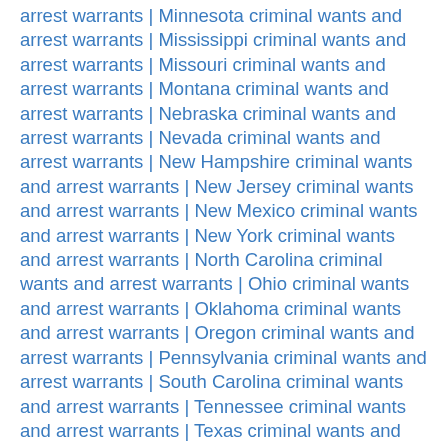arrest warrants | Minnesota criminal wants and arrest warrants | Mississippi criminal wants and arrest warrants | Missouri criminal wants and arrest warrants | Montana criminal wants and arrest warrants | Nebraska criminal wants and arrest warrants | Nevada criminal wants and arrest warrants | New Hampshire criminal wants and arrest warrants | New Jersey criminal wants and arrest warrants | New Mexico criminal wants and arrest warrants | New York criminal wants and arrest warrants | North Carolina criminal wants and arrest warrants | Ohio criminal wants and arrest warrants | Oklahoma criminal wants and arrest warrants | Oregon criminal wants and arrest warrants | Pennsylvania criminal wants and arrest warrants | South Carolina criminal wants and arrest warrants | Tennessee criminal wants and arrest warrants | Texas criminal wants and